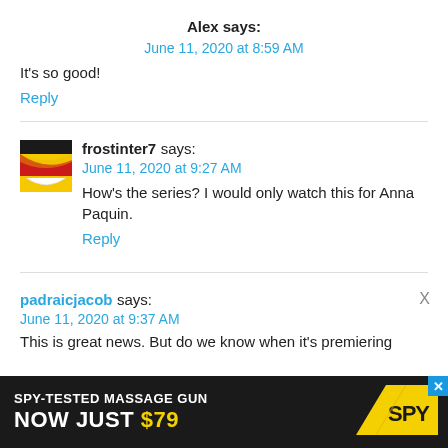Alex says:
June 11, 2020 at 8:59 AM
It's so good!
Reply
[Figure (illustration): Yellow laughing face avatar/icon for frostinter7]
frostinter7 says:
June 11, 2020 at 9:27 AM
How's the series? I would only watch this for Anna Paquin.
Reply
padraicjacob says:
June 11, 2020 at 9:37 AM
This is great news. But do we know when it's premiering
[Figure (advertisement): SPY-TESTED MASSAGE GUN NOW JUST $79 advertisement banner with SPY logo on dark background]